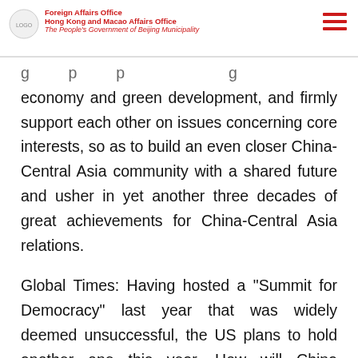Foreign Affairs Office
Hong Kong and Macao Affairs Office
The People's Government of Beijing Municipality
economy and green development, and firmly support each other on issues concerning core interests, so as to build an even closer China-Central Asia community with a shared future and usher in yet another three decades of great achievements for China-Central Asia relations.
Global Times: Having hosted a "Summit for Democracy" last year that was widely deemed unsuccessful, the US plans to hold another one this year. How will China respond?